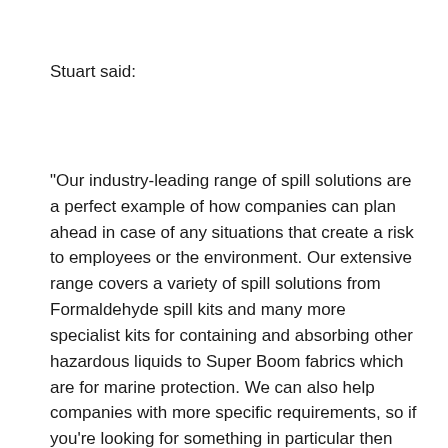Stuart said:
“Our industry-leading range of spill solutions are a perfect example of how companies can plan ahead in case of any situations that create a risk to employees or the environment. Our extensive range covers a variety of spill solutions from Formaldehyde spill kits and many more specialist kits for containing and absorbing other hazardous liquids to Super Boom fabrics which are for marine protection. We can also help companies with more specific requirements, so if you’re looking for something in particular then please just get in touch!”